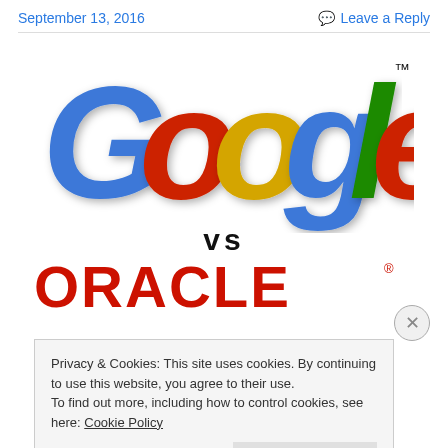September 13, 2016   💬 Leave a Reply
[Figure (logo): Google logo (classic multicolor) with 'vs' below it and partial Oracle logo at the bottom]
Privacy & Cookies: This site uses cookies. By continuing to use this website, you agree to their use.
To find out more, including how to control cookies, see here: Cookie Policy
Close and accept